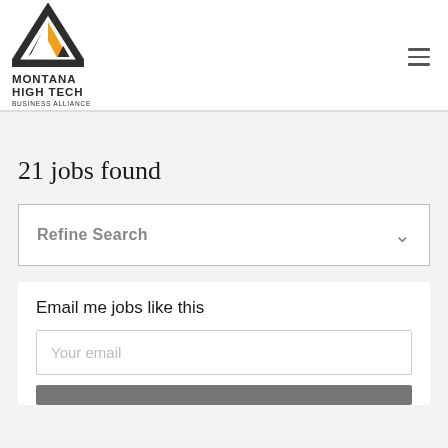Montana High Tech Business Alliance — logo and navigation
21 jobs found
Refine Search
Email me jobs like this
Your email